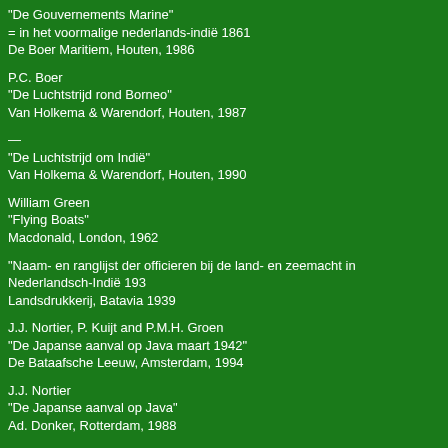"De Gouvernements Marine"
= in het voormalige nederlands-indië 1861
De Boer Maritiem, Houten, 1986
P.C. Boer
"De Luchtstrijd rond Borneo"
Van Holkema & Warendorf, Houten, 1987
—
"De Luchtstrijd om Indië"
Van Holkema & Warendorf, Houten, 1990
William Green
"Flying Boats"
Macdonald, London, 1962
"Naam- en ranglijst der officieren bij de land- en zeemacht in Nederlandsch-Indië 193
Landsdrukkerij, Batavia 1939
J.J. Nortier, P. Kuijt and P.M.H. Groen
"De Japanse aanval op Java maart 1942"
De Bataafsche Leeuw, Amsterdam, 1994
J.J. Nortier
"De Japanse aanval op Java"
Ad. Donker, Rotterdam, 1988
—